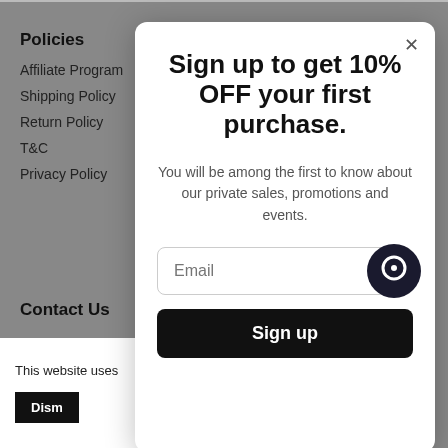Policies
Affiliate Program
Shipping Policy
Return Policy
T&C
Privacy Policy
Contact Us
This website uses
Sign up to get 10% OFF your first purchase.
You will be among the first to know about our private sales, promotions and events.
Email
Sign up